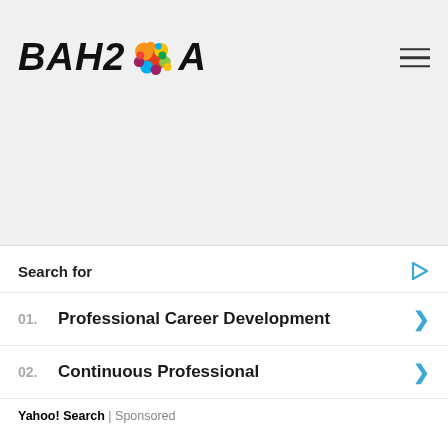[Figure (logo): Bahia logo with stylized script text and colorful blob/splatter graphic]
[Figure (other): Hamburger menu icon (three horizontal lines) in top right corner]
[Figure (other): Gray empty main content area (blank page body)]
[Figure (other): Close button (X) overlay in bottom right]
Search for
01.  Professional Career Development
02.  Continuous Professional
Yahoo! Search | Sponsored